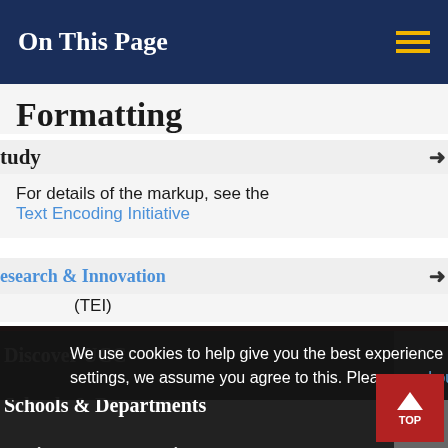On This Page
Formatting
For details of the markup, see the Text Encoding Initiative (TEI)
Discover UCC
Schools & Departments
We use cookies to help give you the best experience on our website. By continuing without changing your cookie settings, we assume you agree to this. Please read our cookie policy to find out more.
Business & Enterprise
Alumni & Development
Close
Home